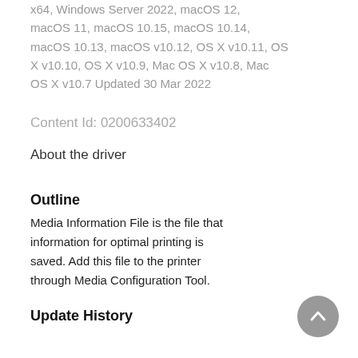x64, Windows Server 2022, macOS 12, macOS 11, macOS 10.15, macOS 10.14, macOS 10.13, macOS v10.12, OS X v10.11, OS X v10.10, OS X v10.9, Mac OS X v10.8, Mac OS X v10.7 Updated 30 Mar 2022
Content Id: 0200633402
About the driver
Outline
Media Information File is the file that information for optimal printing is saved. Add this file to the printer through Media Configuration Tool.
Update History